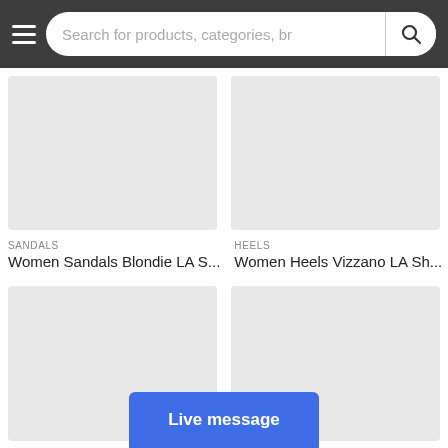Search for products, categories, br
[Figure (photo): Product image placeholder for Women Sandals Blondie LA S... (grey rectangle)]
SANDALS
Women Sandals Blondie LA S...
[Figure (photo): Product image placeholder for Women Heels Vizzano LA Sh... (grey rectangle)]
HEELS
Women Heels Vizzano LA Sh...
[Figure (photo): Product image placeholder bottom left (grey rectangle)]
[Figure (photo): Product image placeholder bottom right (grey rectangle)]
Live message